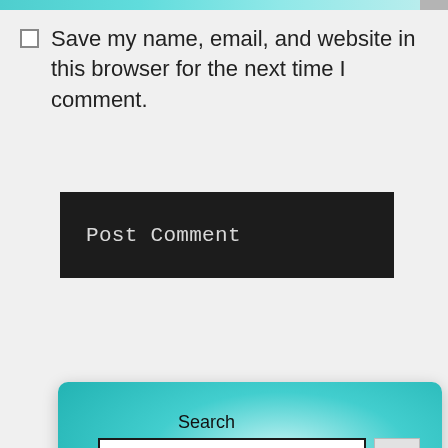[Figure (screenshot): Teal gradient top navigation bar]
Save my name, email, and website in this browser for the next time I comment.
[Figure (screenshot): Dark Post Comment button]
[Figure (screenshot): Teal search widget card with Search label, text input box, and Search button]
[Figure (screenshot): White card partially visible at bottom with teal element]